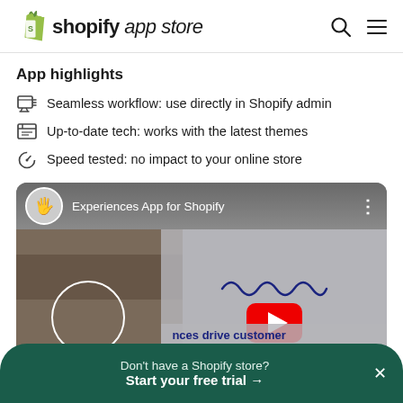shopify app store
App highlights
Seamless workflow: use directly in Shopify admin
Up-to-date tech: works with the latest themes
Speed tested: no impact to your online store
[Figure (screenshot): YouTube video thumbnail for 'Experiences App for Shopify' showing people cooking with a YouTube play button overlay and text 'nces drive customer and increased sales']
Don't have a Shopify store? Start your free trial →